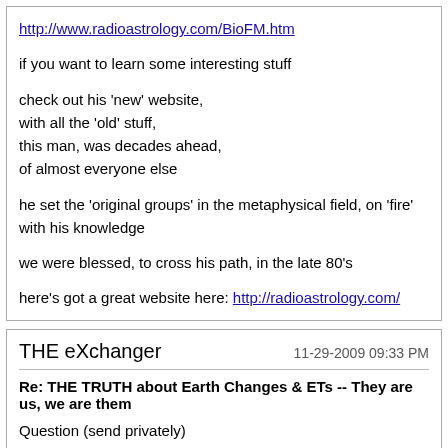http://www.radioastrology.com/BioFM.htm

if you want to learn some interesting stuff

check out his 'new' website,
with all the 'old' stuff,
this man, was decades ahead,
of almost everyone else

he set the 'original groups' in the metaphysical field, on 'fire'
with his knowledge

we were blessed, to cross his path, in the late 80's

here's got a great website here: http://radioastrology.com/
THE eXchanger
11-29-2009 09:33 PM
Re: THE TRUTH about Earth Changes & ETs -- They are us, we are them
Question (send privately)
When are you going to tell your story ?
ANSWER:
There is a lot to tell, regarding my stand...